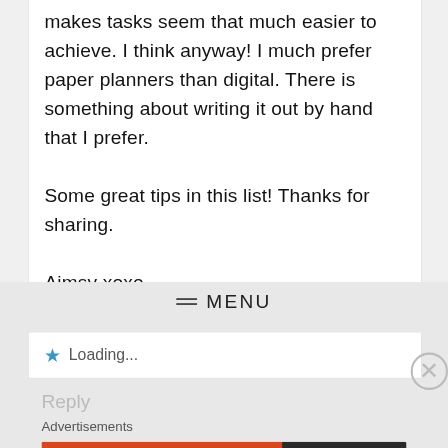makes tasks seem that much easier to achieve. I think anyway! I much prefer paper planners than digital. There is something about writing it out by hand that I prefer.

Some great tips in this list! Thanks for sharing.

Aimsy xoxo
≡ MENU
★ Loading...
Reply
Advertisements
[Figure (other): DuckDuckGo advertisement banner: orange background on left with text 'Search, browse, and email with more privacy. All in One Free App', dark right panel with DuckDuckGo owl logo]